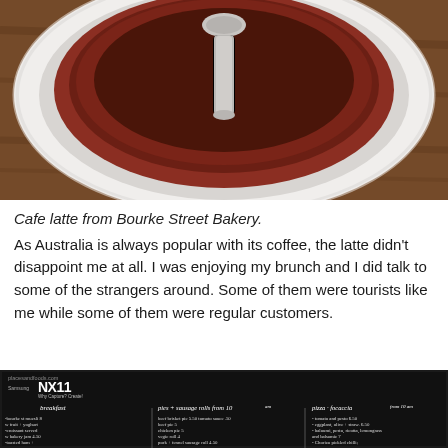[Figure (photo): Close-up photo of a red/brown ceramic bowl with a silver spoon resting on a white plate, on a wooden surface. This is a cafe latte from Bourke Street Bakery.]
Cafe latte from Bourke Street Bakery.
As Australia is always popular with its coffee, the latte didn't disappoint me at all. I was enjoying my brunch and I did talk to some of the strangers around. Some of them were tourists like me while some of them were regular customers.
[Figure (photo): Photo of a chalkboard menu from Bourke Street Bakery showing breakfast items, pies and sausage rolls, sandwiches, and today's salad. The board has a Samsung NX11 watermark overlay and placesandfoods.com watermark.]